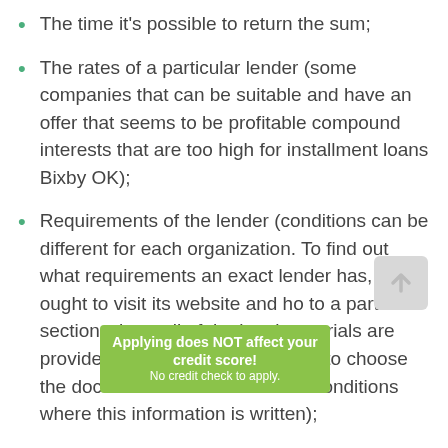The time it's possible to return the sum;
The rates of a particular lender (some companies that can be suitable and have an offer that seems to be profitable compound interests that are too high for installment loans Bixby OK);
Requirements of the lender (conditions can be different for each organization. To find out what requirements an exact lender has, you ought to visit its website and ho to a particular section where all of the legal materials are provided to the users. It's needed to choose the document called Terms and Conditions where this information is written);
How the website looks (to get no credit check installment loans Bixby OK, needed to use the website of the lender. That's why it's significant to find out beforehand if this online platform works properly. Otherwise, to get an installment loan will take you even